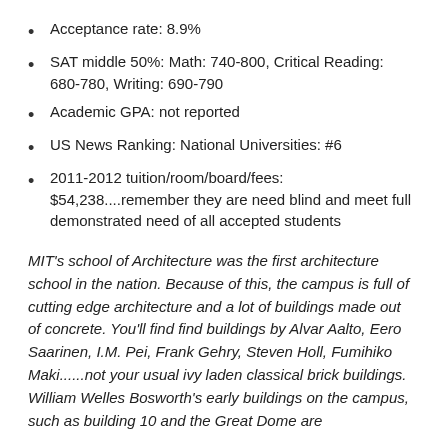Acceptance rate: 8.9%
SAT middle 50%: Math: 740-800, Critical Reading: 680-780, Writing: 690-790
Academic GPA: not reported
US News Ranking: National Universities: #6
2011-2012 tuition/room/board/fees: $54,238....remember they are need blind and meet full demonstrated need of all accepted students
MIT's school of Architecture was the first architecture school in the nation. Because of this, the campus is full of cutting edge architecture and a lot of buildings made out of concrete. You'll find find buildings by Alvar Aalto, Eero Saarinen, I.M. Pei, Frank Gehry, Steven Holl, Fumihiko Maki......not your usual ivy laden classical brick buildings. William Welles Bosworth's early buildings on the campus, such as building 10 and the Great Dome are